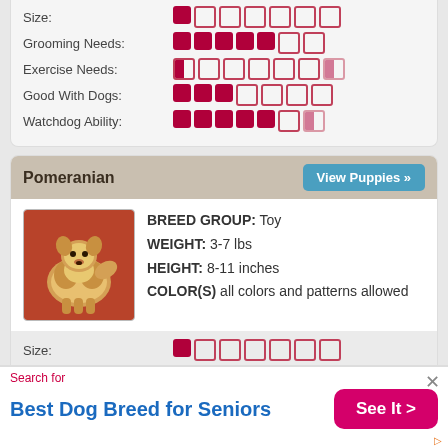Size: 1/7 filled
Grooming Needs: 5/7 filled
Exercise Needs: 1/7 filled (half)
Good With Dogs: 3/7 filled
Watchdog Ability: 5/7 filled
Pomeranian
BREED GROUP: Toy
WEIGHT: 3-7 lbs
HEIGHT: 8-11 inches
COLOR(S) all colors and patterns allowed
[Figure (photo): Photo of a Pomeranian dog, fluffy tan/golden colored, sitting on a red surface]
Size: 1/7 filled
Grooming Needs: 3/7 filled
Exercise Needs: 1/7 filled (half)
Good With Dogs: 1/7 filled
Watchdog Ability: 5/7 filled
Search for Best Dog Breed for Seniors